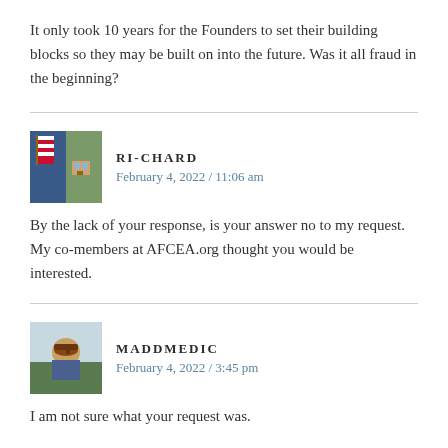It only took 10 years for the Founders to set their building blocks so they may be built on into the future. Was it all fraud in the beginning?
RI-CHARD
February 4, 2022 / 11:06 am
By the lack of your response, is your answer no to my request. My co-members at AFCEA.org thought you would be interested.
MADDMEDIC
February 4, 2022 / 3:45 pm
I am not sure what your request was.